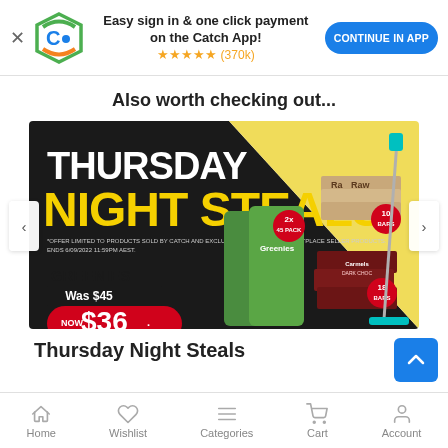Easy sign in & one click payment on the Catch App! ★★★★★ (370k) CONTINUE IN APP
Also worth checking out...
[Figure (photo): Thursday Night Steals promotional banner showing Greenies dog treats (Was $45, NOW $36, Save 20%), Raw bars (10 bars), Carmels dark choc bars (18 bars), and a spray mop. Black and yellow design with bold text.]
Thursday Night Steals
Home  Wishlist  Categories  Cart  Account